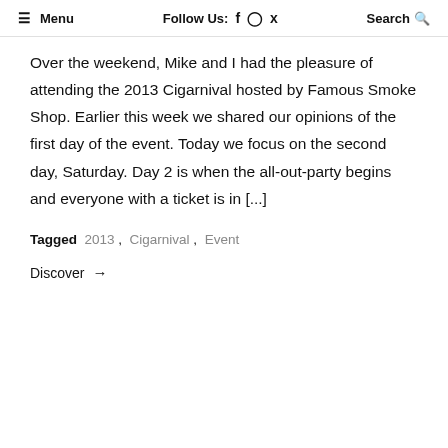≡ Menu   Follow Us: f  ⊙  🐦   Search 🔍
Over the weekend, Mike and I had the pleasure of attending the 2013 Cigarnival hosted by Famous Smoke Shop. Earlier this week we shared our opinions of the first day of the event. Today we focus on the second day, Saturday. Day 2 is when the all-out-party begins and everyone with a ticket is in [...]
Tagged 2013 , Cigarnival , Event
Discover →